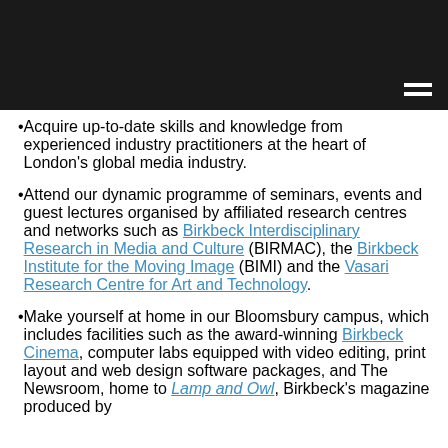Acquire up-to-date skills and knowledge from experienced industry practitioners at the heart of London's global media industry.
Attend our dynamic programme of seminars, events and guest lectures organised by affiliated research centres and networks such as Birkbeck Interdisciplinary Research in Media and Culture (BIRMAC), the Birkbeck Institute for the Moving Image (BIMI) and the Vasari Research Centre for Art and Technology.
Make yourself at home in our Bloomsbury campus, which includes facilities such as the award-winning Birkbeck Cinema, computer labs equipped with video editing, print layout and web design software packages, and The Newsroom, home to Lamp and Owl, Birkbeck's magazine produced by